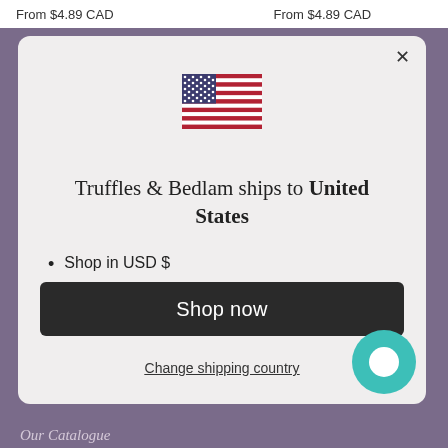From $4.89 CAD    From $4.89 CAD
[Figure (illustration): US flag SVG illustration]
Truffles & Bedlam ships to United States
Shop in USD $
Get shipping options for United States
Shop now
Change shipping country
Our Catalogue